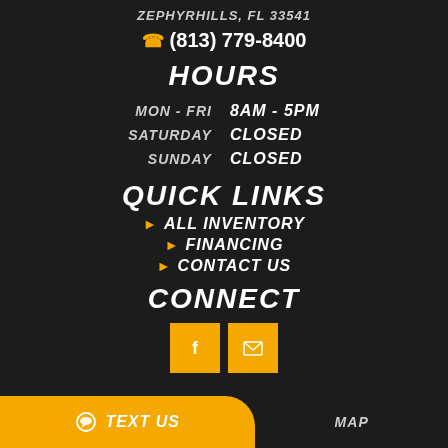ZEPHYRHILLS, FL 33541
(813) 779-8400
HOURS
| Day | Hours |
| --- | --- |
| MON - FRI | 8AM - 5PM |
| SATURDAY | CLOSED |
| SUNDAY | CLOSED |
QUICK LINKS
ALL INVENTORY
FINANCING
CONTACT US
CONNECT
TEXT US
MAP